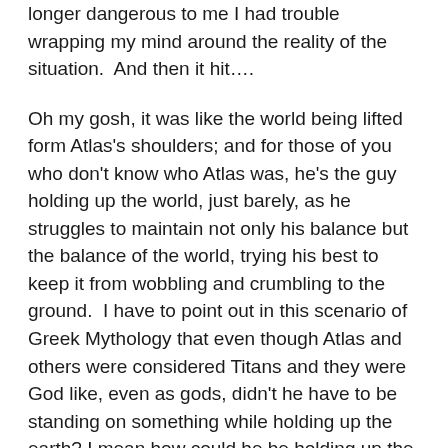longer dangerous to me I had trouble wrapping my mind around the reality of the situation.  And then it hit….
Oh my gosh, it was like the world being lifted form Atlas's shoulders; and for those of you who don't know who Atlas was, he's the guy holding up the world, just barely, as he struggles to maintain not only his balance but the balance of the world, trying his best to keep it from wobbling and crumbling to the ground.  I have to point out in this scenario of Greek Mythology that even though Atlas and others were considered Titans and they were God like, even as gods, didn't he have to be standing on something while holding up the earth? I mean how could he be holding up the earth while not standing on something?
So, from impending doom to a broken window the two do not compare in severity, but how often do we